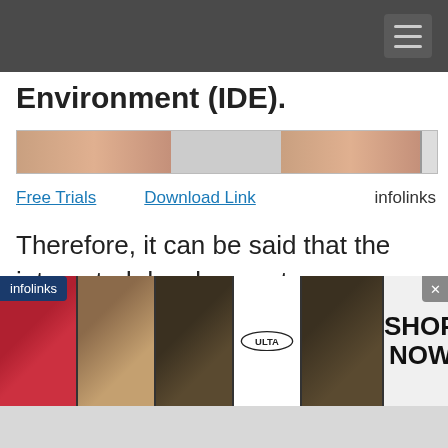Environment (IDE).
[Figure (photo): Partial advertisement banner showing faces/beauty images]
Free Trials   Download Link   infolinks
Therefore, it can be said that the integrated development environment is a combination of a series of development tools. For example, a desktop computer, the core component of a desktop computer is
[Figure (photo): Ulta Beauty advertisement banner at bottom with close button showing makeup/beauty images and SHOP NOW text]